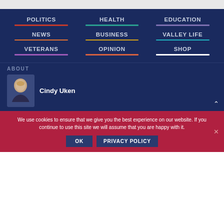[Figure (screenshot): Navigation menu on dark blue background with links: POLITICS, HEALTH, EDUCATION, NEWS, BUSINESS, VALLEY LIFE, VETERANS, OPINION, SHOP each with colored underlines]
ABOUT
[Figure (photo): Headshot of Cindy Uken, a woman with blonde hair wearing a dark blazer]
Cindy Uken
We use cookies to ensure that we give you the best experience on our website. If you continue to use this site we will assume that you are happy with it.
OK   PRIVACY POLICY